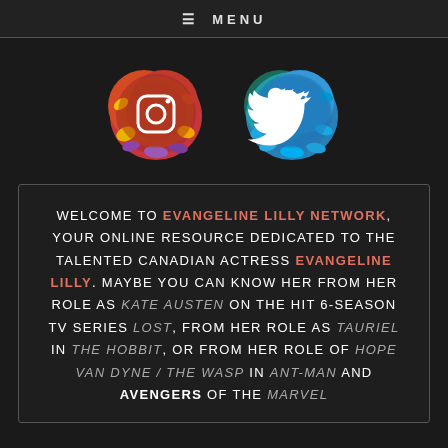≡ MENU
[Figure (illustration): Two social media icons: Instagram (colorful paint splash background with camera icon) and Twitter (blue paint splash background with bird icon)]
WELCOME TO EVANGELINE LILLY NETWORK, YOUR ONLINE RESOURCE DEDICATED TO THE TALENTED CANADIAN ACTRESS EVANGELINE LILLY. MAYBE YOU CAN KNOW HER FROM HER ROLE AS KATE AUSTEN ON THE HIT 6-SEASON TV SERIES LOST, FROM HER ROLE AS TAURIEL IN THE HOBBIT, OR FROM HER ROLE OF HOPE VAN DYNE / THE WASP IN ANT-MAN AND AVENGERS OF THE MARVEL